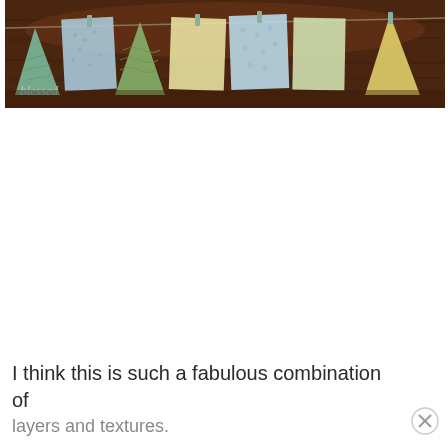[Figure (photo): A photo of colorful bunting/banner flags (triangles and squares in green, blue, and yellow patterns) hung on a string over a dark wooden surface. A watermark reading 'blessed' is visible in the bottom left of the photo.]
I think this is such a fabulous combination of layers and textures.